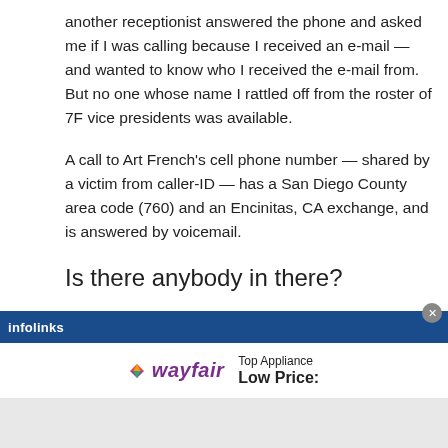another receptionist answered the phone and asked me if I was calling because I received an e-mail — and wanted to know who I received the e-mail from. But no one whose name I rattled off from the roster of 7F vice presidents was available.
A call to Art French's cell phone number — shared by a victim from caller-ID — has a San Diego County area code (760) and an Encinitas, CA exchange, and is answered by voicemail.
Is there anybody in there?
[Figure (screenshot): Infolinks advertisement banner with Wayfair ad showing 'Top Appliance Low Price:' text and Wayfair logo]